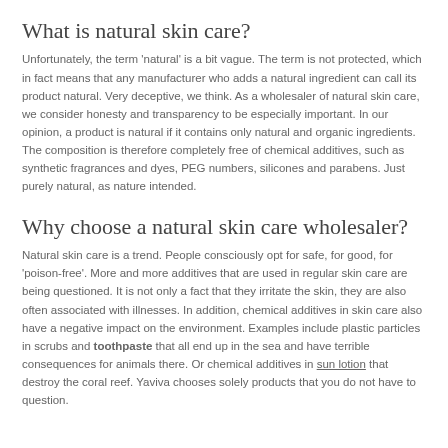What is natural skin care?
Unfortunately, the term 'natural' is a bit vague. The term is not protected, which in fact means that any manufacturer who adds a natural ingredient can call its product natural. Very deceptive, we think. As a wholesaler of natural skin care, we consider honesty and transparency to be especially important. In our opinion, a product is natural if it contains only natural and organic ingredients. The composition is therefore completely free of chemical additives, such as synthetic fragrances and dyes, PEG numbers, silicones and parabens. Just purely natural, as nature intended.
Why choose a natural skin care wholesaler?
Natural skin care is a trend. People consciously opt for safe, for good, for 'poison-free'. More and more additives that are used in regular skin care are being questioned. It is not only a fact that they irritate the skin, they are also often associated with illnesses. In addition, chemical additives in skin care also have a negative impact on the environment. Examples include plastic particles in scrubs and toothpaste that all end up in the sea and have terrible consequences for animals there. Or chemical additives in sun lotion that destroy the coral reef. Yaviva chooses solely products that you do not have to question.